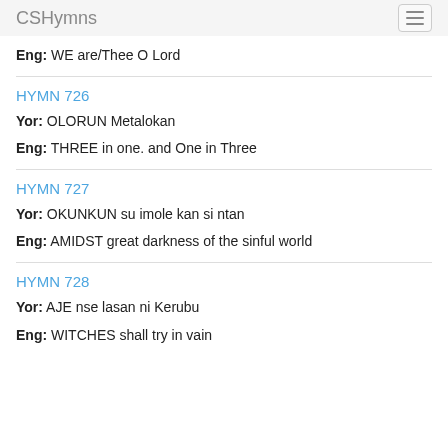CSHymns
Eng: WE are/Thee O Lord
HYMN 726
Yor: OLORUN Metalokan
Eng: THREE in one. and One in Three
HYMN 727
Yor: OKUNKUN su imole kan si ntan
Eng: AMIDST great darkness of the sinful world
HYMN 728
Yor: AJE nse lasan ni Kerubu
Eng: WITCHES shall try in vain